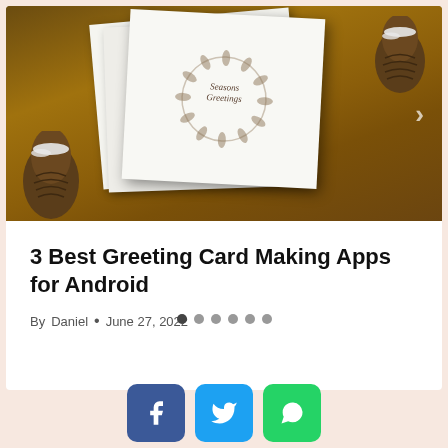[Figure (photo): A Christmas greeting card with 'Seasons Greetings' text in a wreath design, placed on a wooden surface with snow-dusted pine cones around it. A carousel navigation arrow is visible on the right side.]
3 Best Greeting Card Making Apps for Android
By Daniel • June 27, 2022